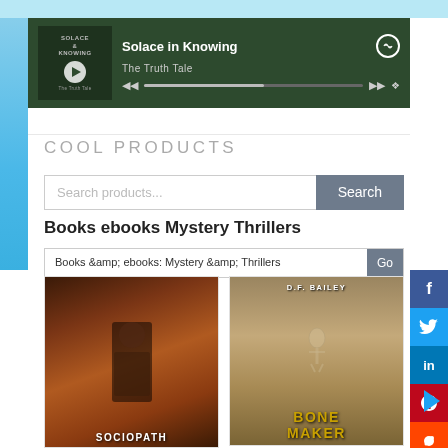[Figure (screenshot): Spotify embedded player showing 'Solace in Knowing' by The Truth Tale with album art, playback controls, and progress bar on dark green background]
COOL PRODUCTS
[Figure (screenshot): Search bar with placeholder 'Search products...' and Search button]
Books ebooks Mystery Thrillers
Books &amp; ebooks: Mystery &amp; Thrillers
[Figure (photo): Book cover for Sociopath thriller with dark figure]
[Figure (photo): Book cover for Bone Maker by D.F. Bailey with golden/tan design]
[Figure (infographic): Social sharing sidebar with Facebook, Twitter, LinkedIn, Pinterest, Reddit, StumbleUpon buttons]